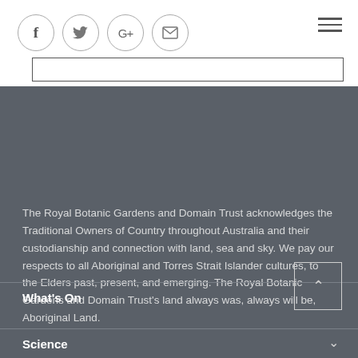[Figure (screenshot): Social media share icons (Facebook, Twitter, Google+, Email) in circular outlines, plus a hamburger menu icon in the top right, and a search box outline below]
The Royal Botanic Gardens and Domain Trust acknowledges the Traditional Owners of Country throughout Australia and their custodianship and connection with land, sea and sky. We pay our respects to all Aboriginal and Torres Strait Islander cultures, to the Elders past, present, and emerging. The Royal Botanic Gardens and Domain Trust's land always was, always will be, Aboriginal Land.
What's On
Science